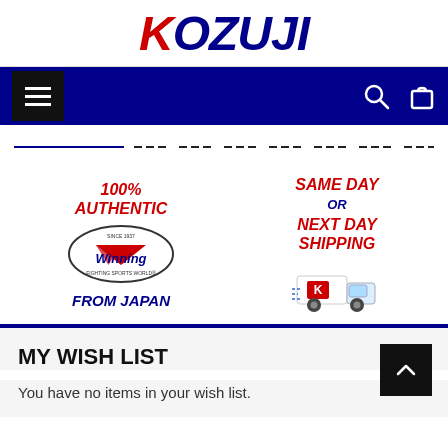KOZUJI
[Figure (logo): Navigation bar with hamburger menu icon on left, search icon and shopping bag icon on right, dark navy background]
[Figure (infographic): Dashed horizontal divider line, navy blue on left portion then dark dashes]
[Figure (infographic): Promotional section: Left side shows '100% AUTHENTIC' in red italic, Winning Fighting Sports World oval logo, 'FROM JAPAN' in blue italic. Right side shows 'SAME DAY OR NEXT DAY SHIPPING' in red/blue italic with a delivery truck illustration with K logo.]
MY WISH LIST
You have no items in your wish list.